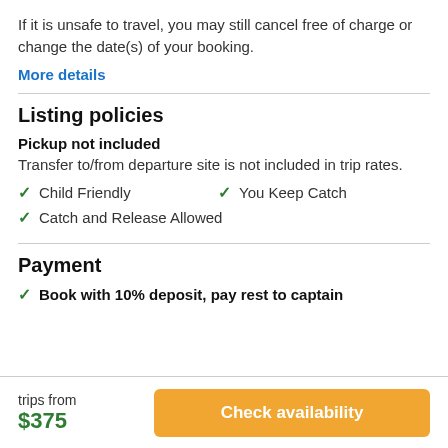If it is unsafe to travel, you may still cancel free of charge or change the date(s) of your booking.
More details
Listing policies
Pickup not included
Transfer to/from departure site is not included in trip rates.
Child Friendly
You Keep Catch
Catch and Release Allowed
Payment
Book with 10% deposit, pay rest to captain
trips from
$375
Check availability